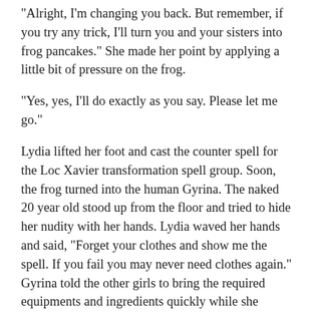"Alright, I'm changing you back. But remember, if you try any trick, I'll turn you and your sisters into frog pancakes." She made her point by applying a little bit of pressure on the frog.
"Yes, yes, I'll do exactly as you say. Please let me go."
Lydia lifted her foot and cast the counter spell for the Loc Xavier transformation spell group. Soon, the frog turned into the human Gyrina. The naked 20 year old stood up from the floor and tried to hide her nudity with her hands. Lydia waved her hands and said, "Forget your clothes and show me the spell. If you fail you may never need clothes again." Gyrina told the other girls to bring the required equipments and ingredients quickly while she explained the spell to Lydia. Drusina and Lygine left.
By this time, Cindy had managed to remove the pacifier from her mouth. She was now crying because she needed